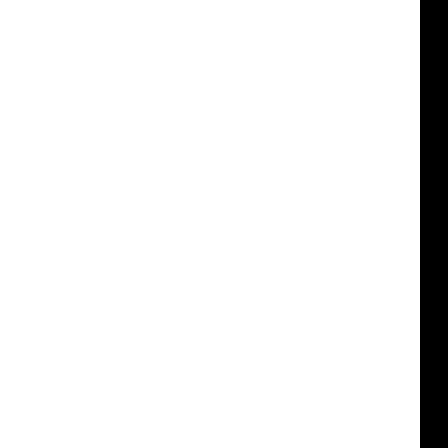[Figure (screenshot): Terminal/console output on black background showing TLS handshake test results with BIO pair connections, handshake counts, approximate server/client totals, RSA test output including zlib compression availability and repeated DONE via BIO pair TLSv1 lines.]